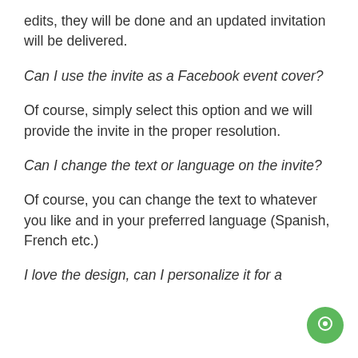edits, they will be done and an updated invitation will be delivered.
Can I use the invite as a Facebook event cover?
Of course, simply select this option and we will provide the invite in the proper resolution.
Can I change the text or language on the invite?
Of course, you can change the text to whatever you like and in your preferred language (Spanish, French etc.)
I love the design, can I personalize it for a